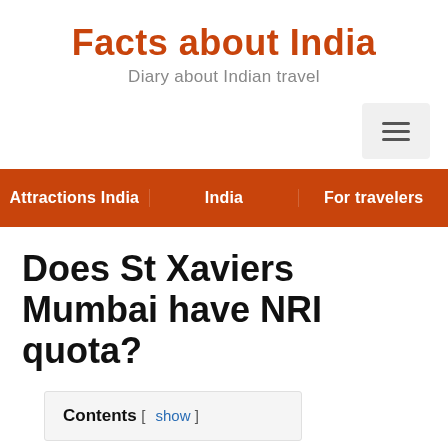Facts about India
Diary about Indian travel
[Figure (other): Hamburger menu icon button in a light grey rounded box, positioned top right]
Attractions India  India  For travelers
Does St Xaviers Mumbai have NRI quota?
Contents [ show ]